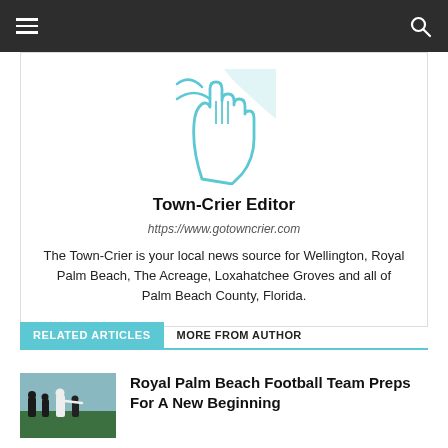Town-Crier website navigation bar
[Figure (logo): Town-Crier publication logo: teal/cyan line-art illustration of a hand and abstract shapes on white background]
Town-Crier Editor
https://www.gotowncrier.com
The Town-Crier is your local news source for Wellington, Royal Palm Beach, The Acreage, Loxahatchee Groves and all of Palm Beach County, Florida.
RELATED ARTICLES  MORE FROM AUTHOR
[Figure (photo): Outdoor photo of people at a football practice on a green field]
Royal Palm Beach Football Team Preps For A New Beginning